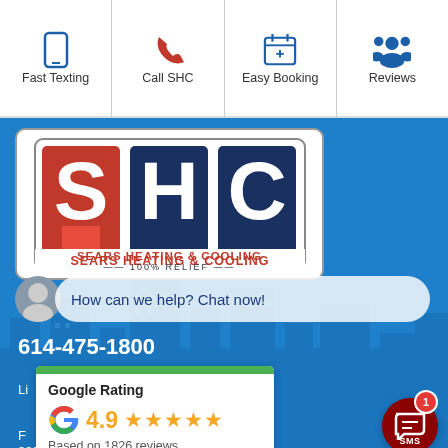[Figure (infographic): Top navigation bar with four icon+label items: Fast Texting (phone icon), Call SHC (red phone icon), Easy Booking (calendar icon), Reviews (people icon)]
[Figure (logo): Sears Heating & Cooling SHC logo with red and dark blue block letters on white background, tagline 100% RELIEF]
How can we help? Chat now!
614-475-1800
[Figure (infographic): Google Rating card showing 4.9 stars based on 1826 reviews with Google G logo]
[Figure (infographic): SMS chat button in dark red circle with notification badge showing 1]